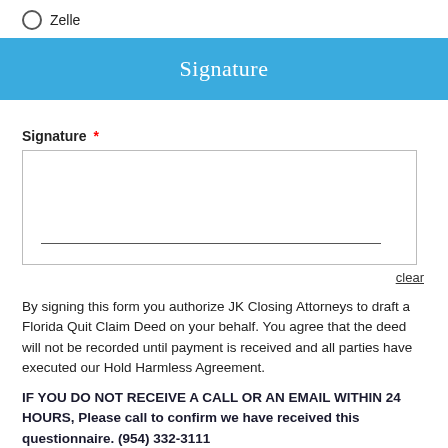Zelle
Signature
Signature *
clear
By signing this form you authorize JK Closing Attorneys to draft a Florida Quit Claim Deed on your behalf. You agree that the deed will not be recorded until payment is received and all parties have executed our Hold Harmless Agreement.
IF YOU DO NOT RECEIVE A CALL OR AN EMAIL WITHIN 24 HOURS, Please call to confirm we have received this questionnaire. (954) 332-3111